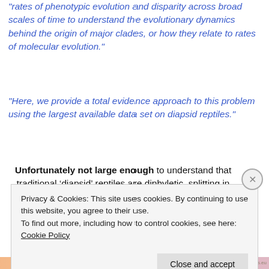“rates of phenotypic evolution and disparity across broad scales of time to understand the evolutionary dynamics behind the origin of major clades, or how they relate to rates of molecular evolution.”
“Here, we provide a total evidence approach to this problem using the largest available data set on diapsid reptiles.”
Unfortunately not large enough to understand that traditional ‘diapsid’ reptiles are diphyletic, splitting in
Privacy & Cookies: This site uses cookies. By continuing to use this website, you agree to their use.
To find out more, including how to control cookies, see here: Cookie Policy